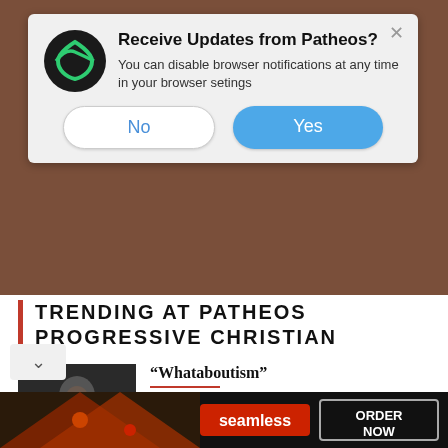[Figure (screenshot): Browser notification popup dialog asking to receive updates from Patheos, with No and Yes buttons]
TRENDING AT PATHEOS PROGRESSIVE CHRISTIAN
[Figure (photo): Black and white photo of a person in distress, head in hands]
“Whataboutism”
"Whataboutism" is the relatively new and frequently used trope, offered up in...
[Figure (screenshot): Seamless food delivery advertisement banner showing pizza with ORDER NOW button]